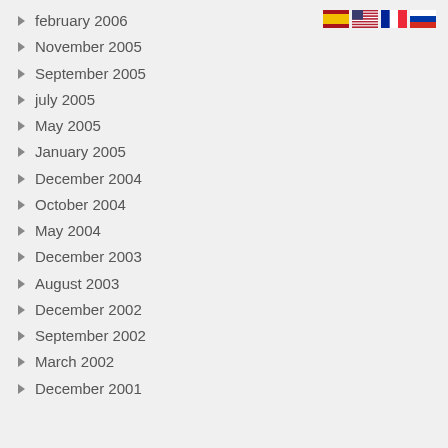[Figure (illustration): Four country flag icons: Spain, USA, France, Russia]
february 2006
November 2005
September 2005
july 2005
May 2005
January 2005
December 2004
October 2004
May 2004
December 2003
August 2003
December 2002
September 2002
March 2002
December 2001